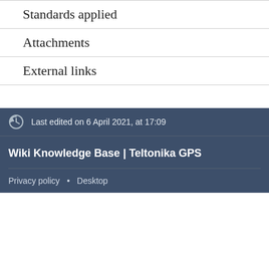Standards applied
Attachments
External links
Last edited on 6 April 2021, at 17:09
Wiki Knowledge Base | Teltonika GPS
Privacy policy • Desktop